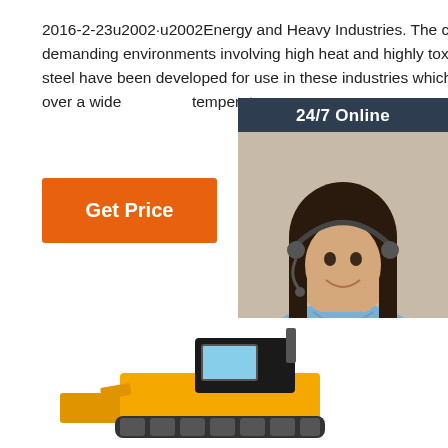2016-2-23u2002·u2002Energy and Heavy Industries. The chemical, oil and gas industries operate in demanding environments involving high heat and highly toxic substances. Special grades of stainless steel have been developed for use in these industries which feature enhanced resistance to corrosion over a wider range of temperatures.
[Figure (photo): Orange 'Get Price' button]
[Figure (photo): Chat widget with '24/7 Online' header, photo of smiling woman with headset, 'Click here for free chat!' text, and orange 'QUOTATION' button]
[Figure (photo): Bottom portion of page showing yellow construction vehicle/bulldozer]